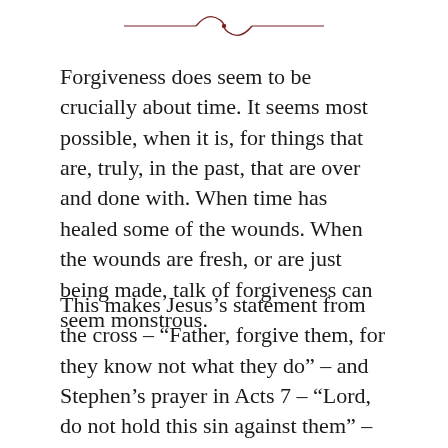[Figure (illustration): Decorative horizontal divider: a dark red/brown ornamental line with a small flourish/knot in the center]
Forgiveness does seem to be crucially about time. It seems most possible, when it is, for things that are, truly, in the past, that are over and done with. When time has healed some of the wounds. When the wounds are fresh, or are just being made, talk of forgiveness can seem monstrous.
This makes Jesus’s statement from the cross – “Father, forgive them, for they know not what they do” – and Stephen’s prayer in Acts 7 – “Lord, do not hold this sin against them” – all the more remarkable.